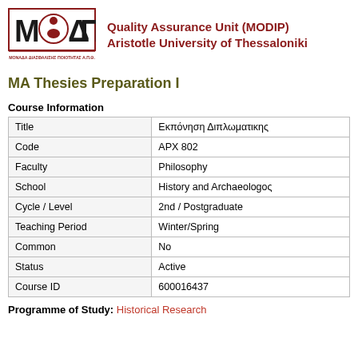[Figure (logo): MODIP logo with Greek text ΜΟΝΑΔΑ ΔΙΑΣΦΑΛΙΣΗΣ ΠΟΙΟΤΗΤΑΣ Α.Π.Θ.]
Quality Assurance Unit (MODIP)
Aristotle University of Thessaloniki
MA Thesies Preparation I
Course Information
|  |  |
| --- | --- |
| Title | Εκπόνηση Διπλωματικης |
| Code | APX 802 |
| Faculty | Philosophy |
| School | History and Archaeologος |
| Cycle / Level | 2nd / Postgraduate |
| Teaching Period | Winter/Spring |
| Common | No |
| Status | Active |
| Course ID | 600016437 |
Programme of Study: Historical Research